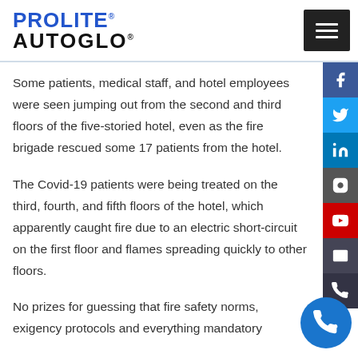PROLITE® AUTOGLO®
Some patients, medical staff, and hotel employees were seen jumping out from the second and third floors of the five-storied hotel, even as the fire brigade rescued some 17 patients from the hotel.
The Covid-19 patients were being treated on the third, fourth, and fifth floors of the hotel, which apparently caught fire due to an electric short-circuit on the first floor and flames spreading quickly to other floors.
No prizes for guessing that fire safety norms, exigency protocols and everything mandatory